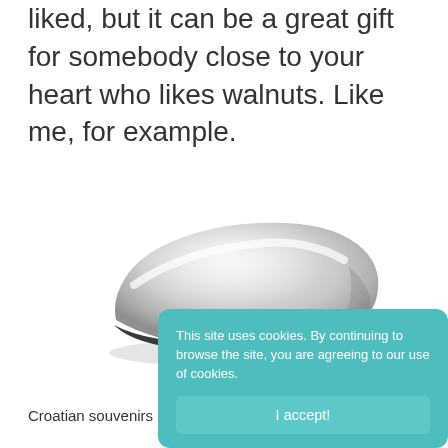liked, but it can be a great gift for somebody close to your heart who likes walnuts. Like me, for example.
[Figure (photo): A teardrop-shaped silver/metallic nutcracker tool photographed on a white background, viewed from above at a slight angle. The object is sleek and smooth, wider at one end and pointed at the other, with a dark edge along the bottom.]
This site uses cookies. By continuing to browse the site, you are agreeing to our use of cookies.
I accept!
Croatian souvenirs